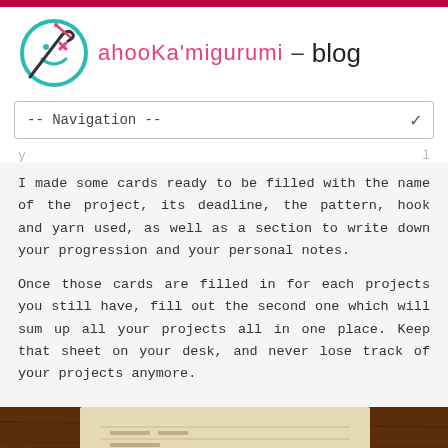ahookamigurumi – blog
-- Navigation --
I made some cards ready to be filled with the name of the project, its deadline, the pattern, hook and yarn used, as well as a section to write down your progression and your personal notes.
Once those cards are filled in for each projects you still have, fill out the second one which will sum up all your projects all in one place. Keep that sheet on your desk, and never lose track of your projects anymore.
[Figure (photo): Photo of a card or paper document on a wooden desk, partially visible at the bottom of the page.]